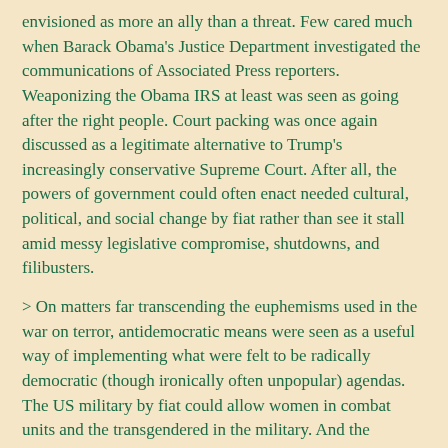envisioned as more an ally than a threat. Few cared much when Barack Obama's Justice Department investigated the communications of Associated Press reporters. Weaponizing the Obama IRS at least was seen as going after the right people. Court packing was once again discussed as a legitimate alternative to Trump's increasingly conservative Supreme Court. After all, the powers of government could often enact needed cultural, political, and social change by fiat rather than see it stall amid messy legislative compromise, shutdowns, and filibusters.
> On matters far transcending the euphemisms used in the war on terror, antidemocratic means were seen as a useful way of implementing what were felt to be radically democratic (though ironically often unpopular) agendas. The US military by fiat could allow women in combat units and the transgendered in the military. And the Department of Justice might sue banks for alleged discrimination or mortgage abuse, then force the targeted banks to settle the cases by donating to politically correct, third-party nonvictims, almost always progressive social justice organizations.
> In the 1970s, the military officer corps and the top ranks of the CIA, DOJ, and FBI were, in the eyes of the Left, synonymous with Seven Days in May—and Manchurian Candidate–like conspiracies. Yet in 2016, these same institutions had been recalibrated by progressives